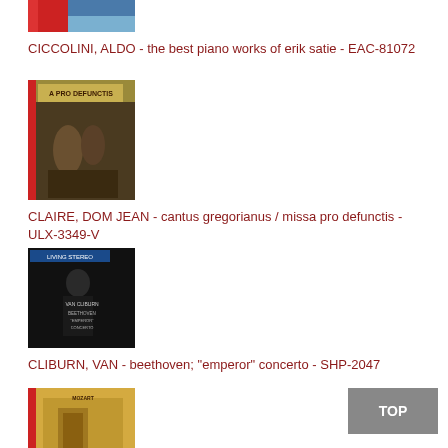[Figure (photo): Album cover partially visible at top of page - colorful abstract cover]
CICCOLINI, ALDO - the best piano works of erik satie - EAC-81072
[Figure (photo): Album cover: A PRO DEFUNCTIS - gold/dark toned artwork with figures]
CLAIRE, DOM JEAN - cantus gregorianus / missa pro defunctis - ULX-3349-V
[Figure (photo): Album cover: Living Stereo - man in suit, Beethoven Emperor Concerto]
CLIBURN, VAN - beethoven; "emperor" concerto - SHP-2047
[Figure (photo): Album cover partially visible at bottom - architectural scene with Mozart/Posthorn text]